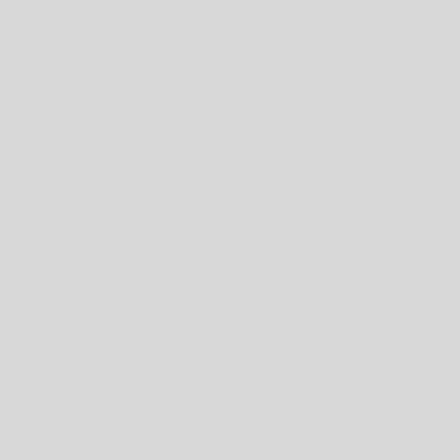interstate commerce, except in the exercise of authority by the given act of merce with foreign nations the Indian tribes. interstate commerce. In Patapsco C supra, it was diof article 1, that s to the present case, as that provi- articles im- people against fraud suppression of frauds, although s upon interstate 171 U. S. 345-35 Rep. 862, and cases cited. More- Constitution Fed. Cas. No. 10,09 Bradley on the circuit and quoted Mr. Chief of that character it doe the Constitution. Applying the pr The question principally argued in question do violence to the ex regulate interstate brands and ma information that may be obtained owner of any such and in other s are required to be branded in ord that they the Protection of Stock.